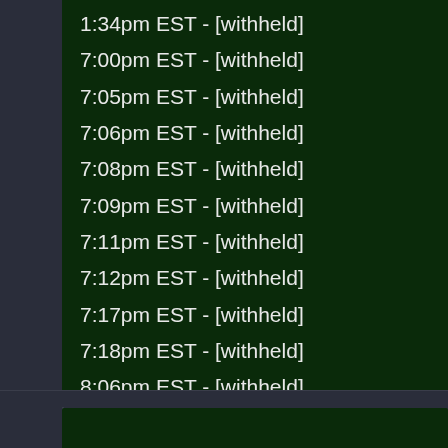1:34pm EST - [withheld]
7:00pm EST - [withheld]
7:05pm EST - [withheld]
7:06pm EST - [withheld]
7:08pm EST - [withheld]
7:09pm EST - [withheld]
7:11pm EST - [withheld]
7:12pm EST - [withheld]
7:17pm EST - [withheld]
7:18pm EST - [withheld]
8:06pm EST - [withheld]
8:07pm EST - [withheld]
8:31pm EST - [withheld]